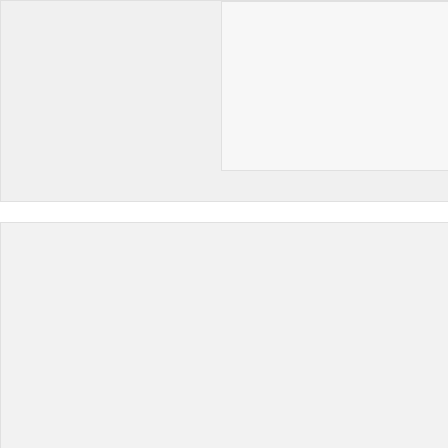combos of vinyl and CDs.
Reply
Zubb says
AUGUST 22, 2018 AT 12:35 PM
Not that I am going to buy these CDS, but they really should have included a couple more Thom Bell tracks on the rarities CD. At least the single, Once You Hit The Road.